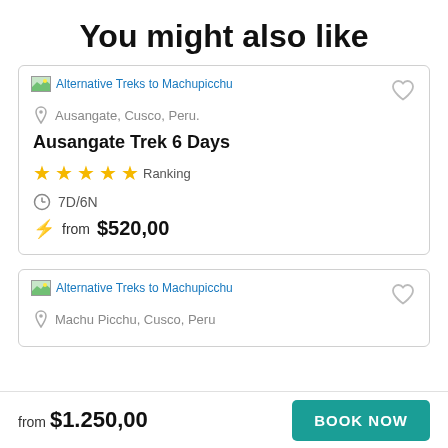You might also like
[Figure (screenshot): Card for Alternative Treks to Machupicchu - Ausangate Trek 6 Days, location Ausangate, Cusco, Peru., 5 star ranking, 7D/6N, from $520,00]
[Figure (screenshot): Card for Alternative Treks to Machupicchu - location Machu Picchu, Cusco, Peru (partially visible)]
from $1.250,00
BOOK NOW